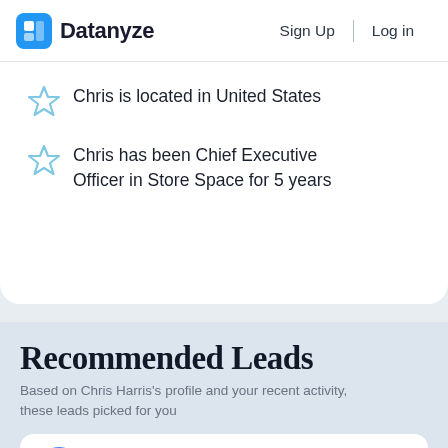Datanyze  Sign Up  Log in
Chris is located in United States
Chris has been Chief Executive Officer in Store Space for 5 years
Recommended Leads
Based on Chris Harris's profile and your recent activity, these leads picked for you
Vince Toenjes